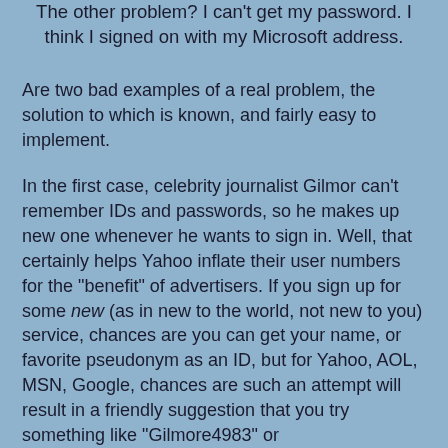The other problem? I can't get my password. I think I signed on with my Microsoft address.
Are two bad examples of a real problem, the solution to which is known, and fairly easy to implement.
In the first case, celebrity journalist Gilmor can't remember IDs and passwords, so he makes up new one whenever he wants to sign in. Well, that certainly helps Yahoo inflate their user numbers for the "benefit" of advertisers. If you sign up for some new (as in new to the world, not new to you) service, chances are you can get your name, or favorite pseudonym as an ID, but for Yahoo, AOL, MSN, Google, chances are such an attempt will result in a friendly suggestion that you try something like "Gilmore4983" or "mac$beach_whoohoo". Nobody can be blamed for not remembering such monstrosities.
In the second case, Scoble has enough income that he can subscribe for months to a service he isn't using, and then blame the company for not magically being able to do...